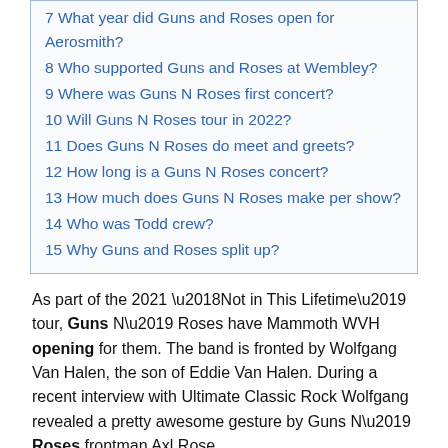7 What year did Guns and Roses open for Aerosmith?
8 Who supported Guns and Roses at Wembley?
9 Where was Guns N Roses first concert?
10 Will Guns N Roses tour in 2022?
11 Does Guns N Roses do meet and greets?
12 How long is a Guns N Roses concert?
13 How much does Guns N Roses make per show?
14 Who was Todd crew?
15 Why Guns and Roses split up?
As part of the 2021 ‘Not in This Lifetime’ tour, Guns N’ Roses have Mammoth WVH opening for them. The band is fronted by Wolfgang Van Halen, the son of Eddie Van Halen. During a recent interview with Ultimate Classic Rock Wolfgang revealed a pretty awesome gesture by Guns N’ Roses frontman Axl Rose.
Best answer for this question, what band members are touring